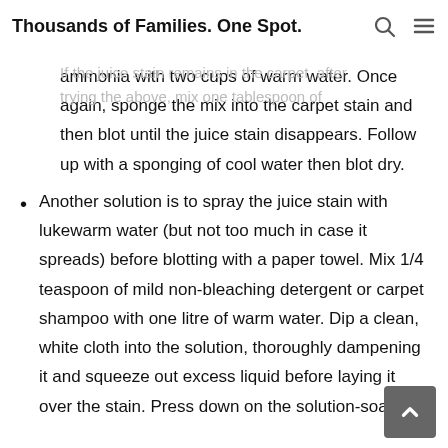Thousands of Families. One Spot.
surface is dry.
If the juice stain remains in the carpet, after trying the above, mix one tablespoon of ammonia with two cups of warm water. Once again, sponge the mix into the carpet stain and then blot until the juice stain disappears. Follow up with a sponging of cool water then blot dry.
Another solution is to spray the juice stain with lukewarm water (but not too much in case it spreads) before blotting with a paper towel. Mix 1/4 teaspoon of mild non-bleaching detergent or carpet shampoo with one litre of warm water. Dip a clean, white cloth into the solution, thoroughly dampening it and squeeze out excess liquid before laying it over the stain. Press down on the solution-soaked